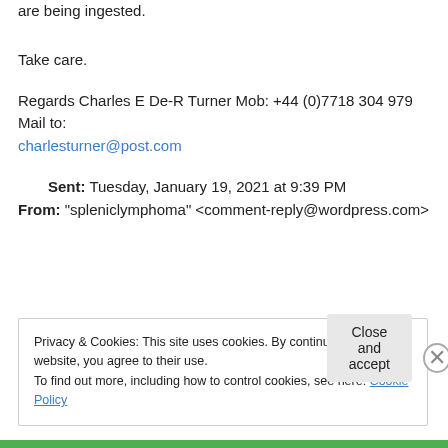are being ingested.
Take care.
Regards Charles E De-R Turner Mob: +44 (0)7718 304 979 Mail to: charlesturner@post.com
Sent: Tuesday, January 19, 2021 at 9:39 PM
From: "spleniclymphoma" <comment-reply@wordpress.com>
Privacy & Cookies: This site uses cookies. By continuing to use this website, you agree to their use.
To find out more, including how to control cookies, see here: Cookie Policy
Close and accept